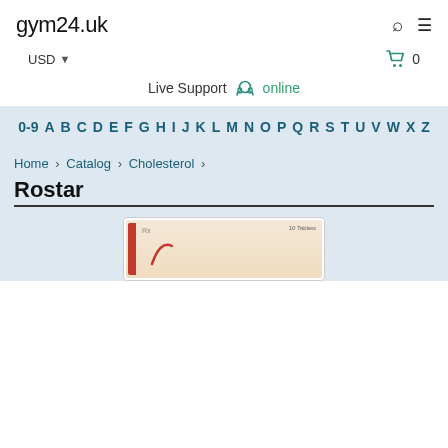gym24.uk
USD  🛒 0
Live Support  online
0-9 A B C D E F G H I J K L M N O P Q R S T U V W X Z
Home › Catalog › Cholesterol ›
Rostar
[Figure (photo): Product photo of Rostar tablet box, partially visible]